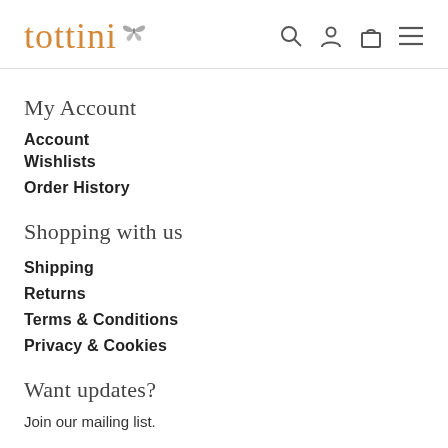tottini
My Account
Account
Wishlists
Order History
Shopping with us
Shipping
Returns
Terms & Conditions
Privacy & Cookies
Want updates?
Join our mailing list.